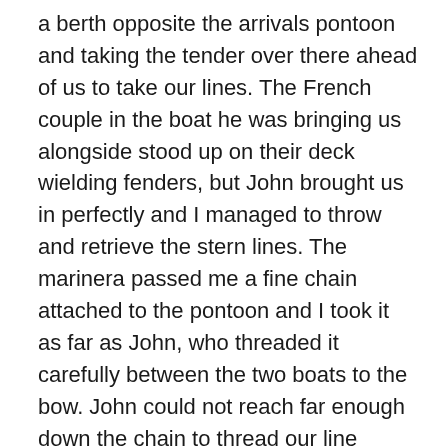a berth opposite the arrivals pontoon and taking the tender over there ahead of us to take our lines. The French couple in the boat he was bringing us alongside stood up on their deck wielding fenders, but John brought us in perfectly and I managed to throw and retrieve the stern lines. The marinera passed me a fine chain attached to the pontoon and I took it as far as John, who threaded it carefully between the two boats to the bow. John could not reach far enough down the chain to thread our line through for a bridle, but our hero was back in his tender doing this for us. We thanked him most profusely. He offered John a lift across to reception, but John decided we would be safer walking. We have arrived at the Cote d'Azure.